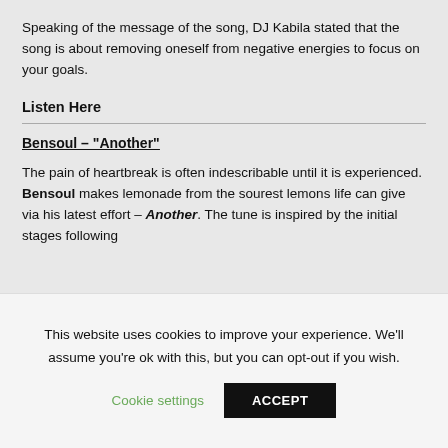Speaking of the message of the song, DJ Kabila stated that the song is about removing oneself from negative energies to focus on your goals.
Listen Here
Bensoul – “Another”
The pain of heartbreak is often indescribable until it is experienced. Bensoul makes lemonade from the sourest lemons life can give via his latest effort – Another. The tune is inspired by the initial stages following a breakup and the brief focus…
This website uses cookies to improve your experience. We'll assume you're ok with this, but you can opt-out if you wish.
Cookie settings
ACCEPT